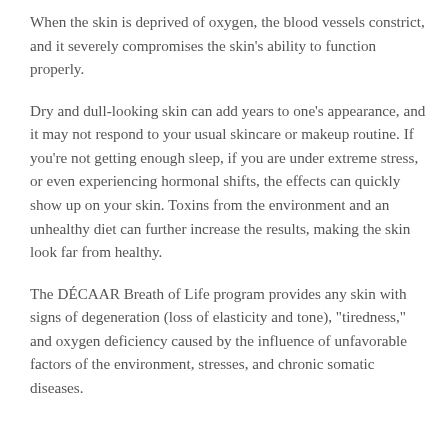When the skin is deprived of oxygen, the blood vessels constrict, and it severely compromises the skin’s ability to function properly.
Dry and dull-looking skin can add years to one’s appearance, and it may not respond to your usual skincare or makeup routine. If you’re not getting enough sleep, if you are under extreme stress, or even experiencing hormonal shifts, the effects can quickly show up on your skin. Toxins from the environment and an unhealthy diet can further increase the results, making the skin look far from healthy.
The DÉCAAR Breath of Life program provides any skin with signs of degeneration (loss of elasticity and tone), “tiredness,” and oxygen deficiency caused by the influence of unfavorable factors of the environment, stresses, and chronic somatic diseases.